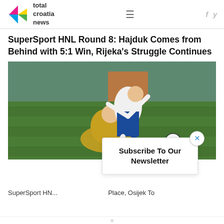total croatia news
SuperSport HNL Round 8: Hajduk Comes from Behind with 5:1 Win, Rijeka's Struggle Continues
[Figure (photo): Soccer/football action photo showing a player in white and blue Hajduk kit leaping over a goalkeeper in yellow during a match]
Subscribe To Our Newsletter
SuperSport HNL ... Place, Osijek To...